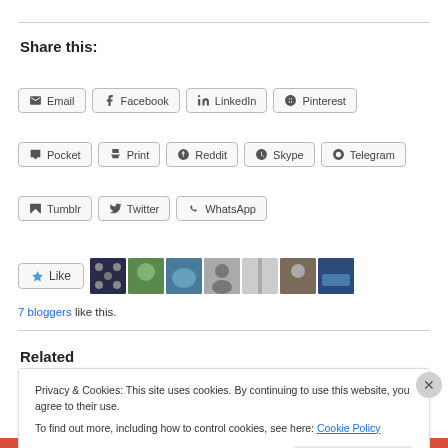Share this:
Email
Facebook
LinkedIn
Pinterest
Pocket
Print
Reddit
Skype
Telegram
Tumblr
Twitter
WhatsApp
[Figure (other): Like button with 7 blogger avatar thumbnails]
7 bloggers like this.
Related
Privacy & Cookies: This site uses cookies. By continuing to use this website, you agree to their use.
To find out more, including how to control cookies, see here: Cookie Policy
Close and accept